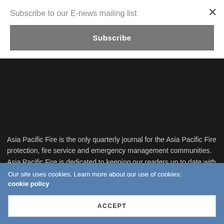Subscribe to our E-news mailing list
Subscribe
Asia Pacific Fire is the only quarterly journal for the Asia Pacific Fire protection, fire service and emergency management communities. Asia Pacific Fire is dedicated to keeping our readers up to date with current research, new and innovative equipment, techniques and training methods. We also cover regional news stories and current issues.

Our articles are written and read by leaders in the fire and disaster management world, looking at the issues around
Our site uses cookies. Learn more about our use of cookies: cookie policy
ACCEPT